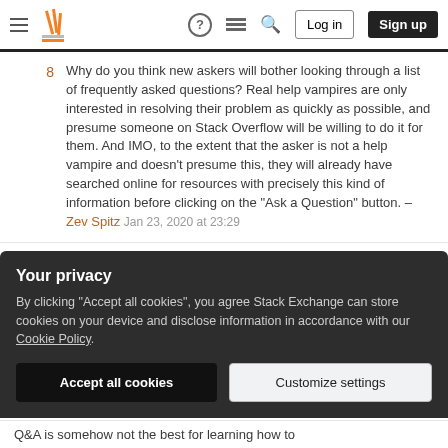Stack Overflow navigation header with hamburger menu, logo, help, chat, search, Log in, Sign up buttons
8  Why do you think new askers will bother looking through a list of frequently asked questions? Real help vampires are only interested in resolving their problem as quickly as possible, and presume someone on Stack Overflow will be willing to do it for them. And IMO, to the extent that the asker is not a help vampire and doesn't presume this, they will already have searched online for resources with precisely this kind of information before clicking on the "Ask a Question" button. – Zev Spitz Jan 23, 2020 at 23:29
1  @ZevSpitz Those are both fair points, although I think it would be helpful for some people. I guess I was
Your privacy
By clicking "Accept all cookies", you agree Stack Exchange can store cookies on your device and disclose information in accordance with our Cookie Policy.
Accept all cookies   Customize settings
Q&A is somehow not the best for learning how to